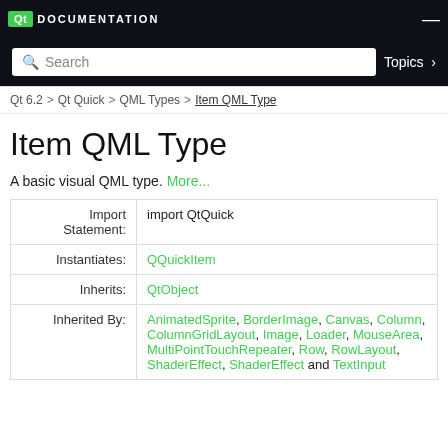Qt DOCUMENTATION
Search  Topics
Qt 6.2 > Qt Quick > QML Types > Item QML Type
Item QML Type
A basic visual QML type. More...
| Import Statement: | import QtQuick |
| Instantiates: | QQuickItem |
| Inherits: | QtObject |
| Inherited By: | AnimatedSprite, BorderImage, Canvas, Column, ColumnLayout, GridLayout, Image, Loader, MouseArea, MultiPointTouchArea, Repeater, Row, RowLayout, ShaderEffect, ShaderEffectSource and TextInput |